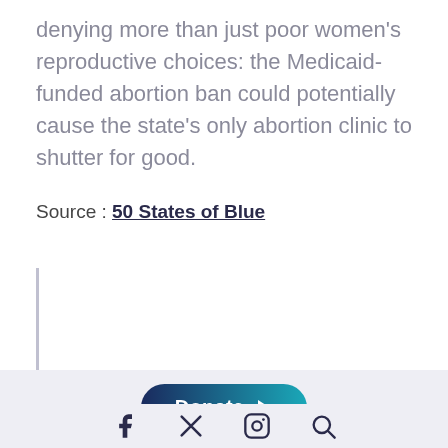denying more than just poor women's reproductive choices: the Medicaid-funded abortion ban could potentially cause the state's only abortion clinic to shutter for good.
Source : 50 States of Blue
[Figure (other): Vertical blockquote bar on the left side of an empty block quote area]
Donate ▶ [social icons: Facebook, Twitter/X, Instagram, other]